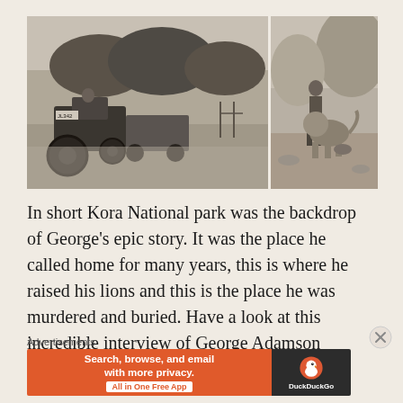[Figure (photo): Two black-and-white photographs side by side. Left photo shows a tractor with a trailer in a dry African landscape with acacia trees. Right photo shows a person standing with a lion in a dry rocky landscape.]
In short Kora National park was the backdrop of George's epic story. It was the place he called home for many years, this is where he raised his lions and this is the place he was murdered and buried. Have a look at this incredible interview of George Adamson where he talks very fondly about...
Advertisements
[Figure (screenshot): DuckDuckGo advertisement banner. Orange left section reads 'Search, browse, and email with more privacy. All in One Free App'. Dark right section shows DuckDuckGo logo with duck icon.]